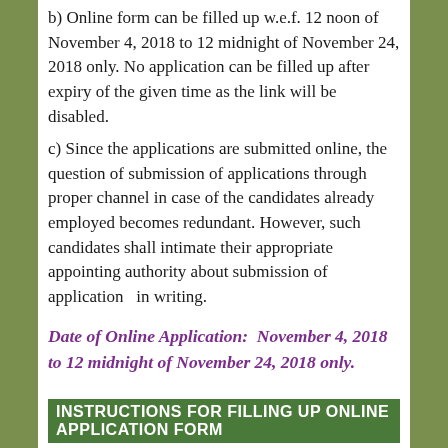b) Online form can be filled up w.e.f. 12 noon of November 4, 2018 to 12 midnight of November 24, 2018 only. No application can be filled up after expiry of the given time as the link will be disabled.
c) Since the applications are submitted online, the question of submission of applications through proper channel in case of the candidates already employed becomes redundant. However, such candidates shall intimate their appropriate appointing authority about submission of application  in writing.
Date of Online Application:  November 4, 2018 to 12 midnight of November 24, 2018 only.
INSTRUCTIONS FOR FILLING UP ONLINE APPLICATION FORM